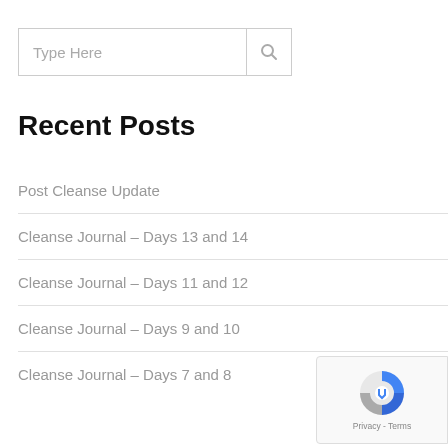[Figure (screenshot): Search input box with placeholder text 'Type Here' and a search icon button on the right]
Recent Posts
Post Cleanse Update
Cleanse Journal – Days 13 and 14
Cleanse Journal – Days 11 and 12
Cleanse Journal – Days 9 and 10
Cleanse Journal – Days 7 and 8
[Figure (logo): Google reCAPTCHA badge with logo and 'Privacy - Terms' text]